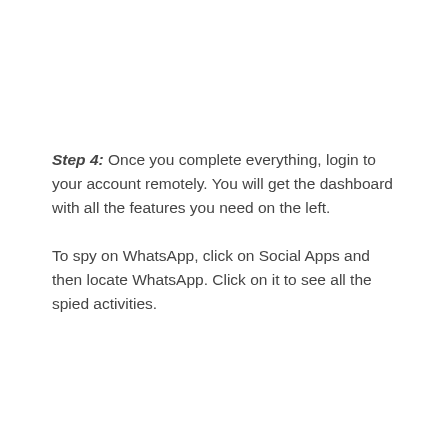Step 4: Once you complete everything, login to your account remotely. You will get the dashboard with all the features you need on the left.
To spy on WhatsApp, click on Social Apps and then locate WhatsApp. Click on it to see all the spied activities.